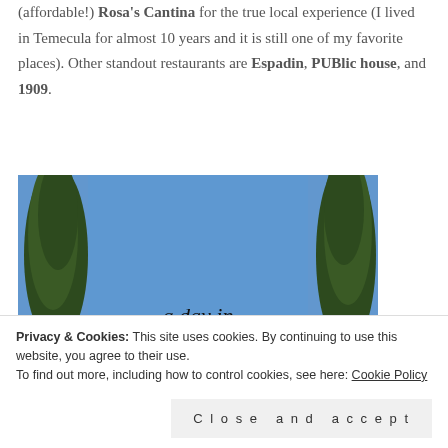(affordable!) Rosa's Cantina for the true local experience (I lived in Temecula for almost 10 years and it is still one of my favorite places). Other standout restaurants are Espadin, PUBlic house, and 1909.
[Figure (photo): Outdoor photo showing tall cypress trees against a blue sky, with text overlay reading 'a day in' and a cursive word beginning with 'T' (partially visible). Blue sky background.]
Privacy & Cookies: This site uses cookies. By continuing to use this website, you agree to their use. To find out more, including how to control cookies, see here: Cookie Policy